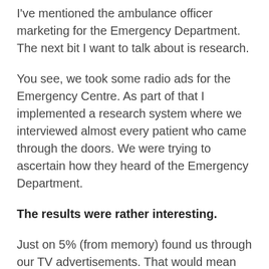I've mentioned the ambulance officer marketing for the Emergency Department. The next bit I want to talk about is research.
You see, we took some radio ads for the Emergency Centre. As part of that I implemented a research system where we interviewed almost every patient who came through the doors. We were trying to ascertain how they heard of the Emergency Department.
The results were rather interesting.
Just on 5% (from memory) found us through our TV advertisements. That would mean they are working well………………except we'd never run a TV ad!